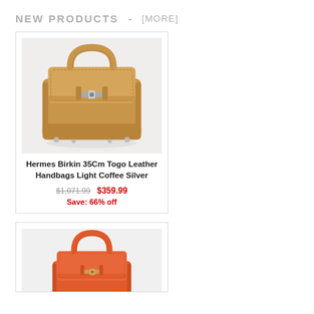NEW PRODUCTS - [MORE]
[Figure (photo): Hermes Birkin 35Cm Togo Leather Handbag in Light Coffee color with silver hardware, product photo on white/light grey background]
Hermes Birkin 35Cm Togo Leather Handbags Light Coffee Silver
$1,071.99  $359.99
Save: 66% off
[Figure (photo): Hermes Birkin handbag in orange/red color with gold hardware, product photo on white/light grey background, partially visible (cropped at bottom)]